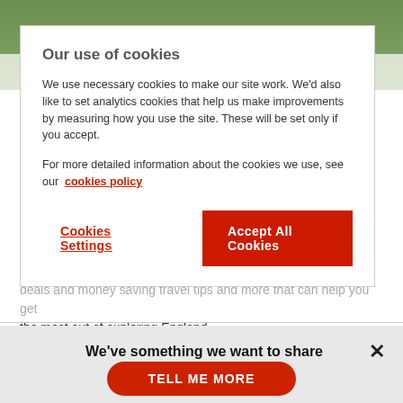[Figure (screenshot): Background nature/forest image at top of page, partially obscured by cookie consent modal]
Our use of cookies
We use necessary cookies to make our site work. We'd also like to set analytics cookies that help us make improvements by measuring how you use the site. These will be set only if you accept.
For more detailed information about the cookies we use, see our cookies policy
Cookies Settings
Accept All Cookies
deals and money saving travel tips and more that can help you get the most out of exploring England.
We've something we want to share
TELL ME MORE